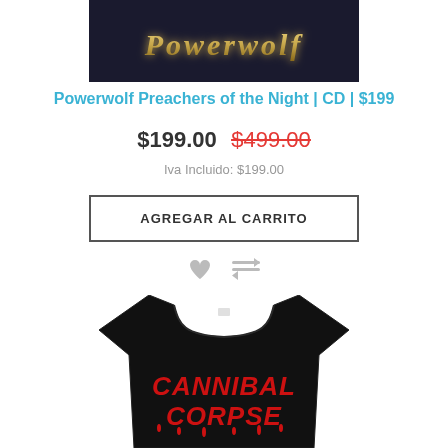[Figure (photo): Dark background product image showing Powerwolf logo text in stylized gothic lettering]
Powerwolf Preachers of the Night | CD | $199
$199.00  $499.00
Iva Incluido: $199.00
AGREGAR AL CARRITO
[Figure (photo): Black t-shirt with red dripping CANNIBAL CORPSE logo text on the front]